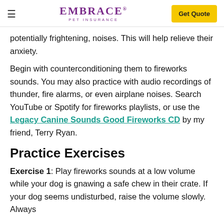EMBRACE PET INSURANCE | Get Quote
potentially frightening, noises. This will help relieve their anxiety.
Begin with counterconditioning them to fireworks sounds. You may also practice with audio recordings of thunder, fire alarms, or even airplane noises. Search YouTube or Spotify for fireworks playlists, or use the Legacy Canine Sounds Good Fireworks CD by my friend, Terry Ryan.
Practice Exercises
Exercise 1: Play fireworks sounds at a low volume while your dog is gnawing a safe chew in their crate. If your dog seems undisturbed, raise the volume slowly. Always